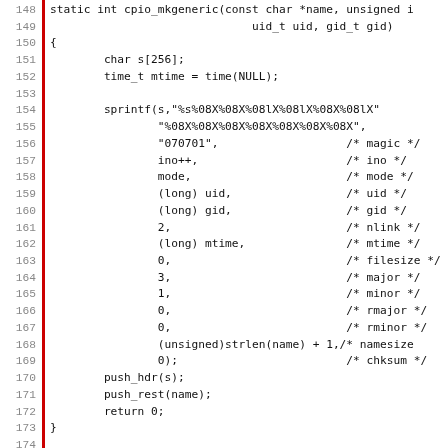[Figure (screenshot): Source code listing showing C code for cpio_mkgeneric function and generic_types enum, with line numbers 148-179, red vertical bar on left margin.]